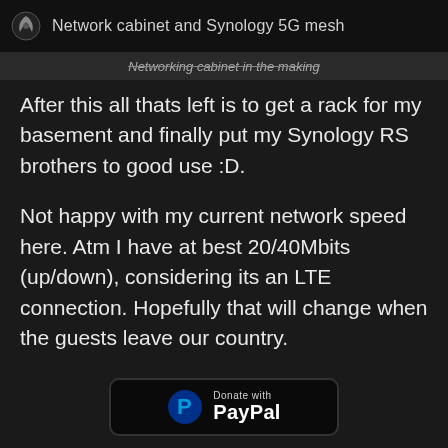Network cabinet and Synology 5G mesh
Networking cabinet in the making
After this all thats left is to get a rack for my basement and finally put my Synology RS brothers to good use :D.
Not happy with my current network speed here. Atm I have at best 20/40Mbits (up/down), considering its an LTE connection. Hopefully that will change when the guests leave our country.
[Figure (logo): Donate with PayPal button]